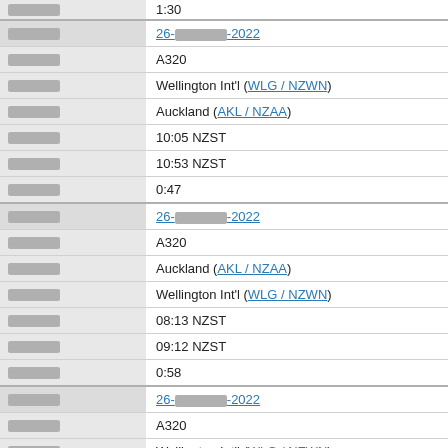| Field | Value |
| --- | --- |
| [label] | 1:30 |
| [date] | 26-[redacted]-2022 |
| [aircraft] | A320 |
| [from] | Wellington Int'l (WLG / NZWN) |
| [to] | Auckland (AKL / NZAA) |
| [departure] | 10:05 NZST |
| [arrival] | 10:53 NZST |
| [duration] | 0:47 |
| [date] | 26-[redacted]-2022 |
| [aircraft] | A320 |
| [from] | Auckland (AKL / NZAA) |
| [to] | Wellington Int'l (WLG / NZWN) |
| [departure] | 08:13 NZST |
| [arrival] | 09:12 NZST |
| [duration] | 0:58 |
| [date] | 26-[redacted]-2022 |
| [aircraft] | A320 |
| [from] | Wellington Int'l (WLG / NZWN) |
| [to] | Auckland (AKL / NZAA) |
| [departure] | 06:12 NZST |
| [arrival] | 07:04 NZST |